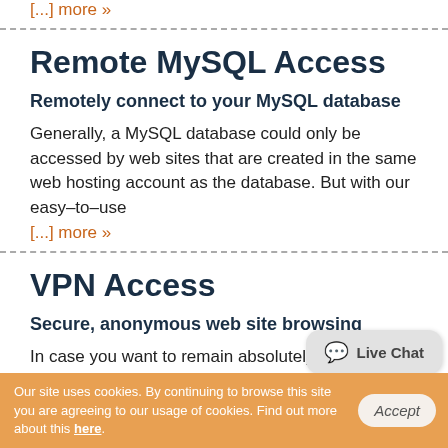[...] more »
Remote MySQL Access
Remotely connect to your MySQL database
Generally, a MySQL database could only be accessed by web sites that are created in the same web hosting account as the database. But with our easy–to–use
[...] more »
VPN Access
Secure, anonymous web site browsing
In case you want to remain absolutely anonymous whilst
Our site uses cookies. By continuing to browse this site you are agreeing to our usage of cookies. Find out more about this here.